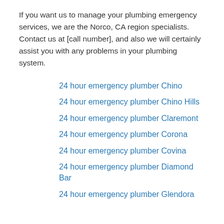If you want us to manage your plumbing emergency services, we are the Norco, CA region specialists. Contact us at [call number], and also we will certainly assist you with any problems in your plumbing system.
24 hour emergency plumber Chino
24 hour emergency plumber Chino Hills
24 hour emergency plumber Claremont
24 hour emergency plumber Corona
24 hour emergency plumber Covina
24 hour emergency plumber Diamond Bar
24 hour emergency plumber Glendora